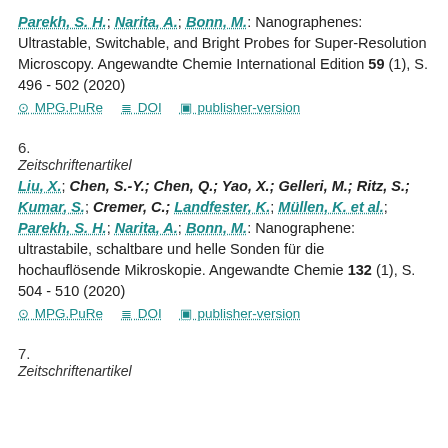Parekh, S. H.; Narita, A.; Bonn, M.: Nanographenes: Ultrastable, Switchable, and Bright Probes for Super-Resolution Microscopy. Angewandte Chemie International Edition 59 (1), S. 496 - 502 (2020)
MPG.PuRe   DOI   publisher-version
6.
Zeitschriftenartikel
Liu, X.; Chen, S.-Y.; Chen, Q.; Yao, X.; Gelleri, M.; Ritz, S.; Kumar, S.; Cremer, C.; Landfester, K.; Müllen, K. et al.; Parekh, S. H.; Narita, A.; Bonn, M.: Nanographene: ultrastabile, schaltbare und helle Sonden für die hochauflösende Mikroskopie. Angewandte Chemie 132 (1), S. 504 - 510 (2020)
MPG.PuRe   DOI   publisher-version
7.
Zeitschriftenartikel